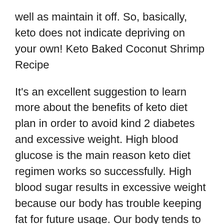well as maintain it off. So, basically, keto does not indicate depriving on your own! Keto Baked Coconut Shrimp Recipe
It's an excellent suggestion to learn more about the benefits of keto diet plan in order to avoid kind 2 diabetes and excessive weight. High blood glucose is the main reason keto diet regimen works so successfully. High blood sugar results in excessive weight because our body has trouble keeping fat for future usage. Our body tends to transform fat into sugar, which creates an increase in insulin degrees. Therefore, our body begins to search for various other sources of power, leading to feelings of appetite as well as overindulging.